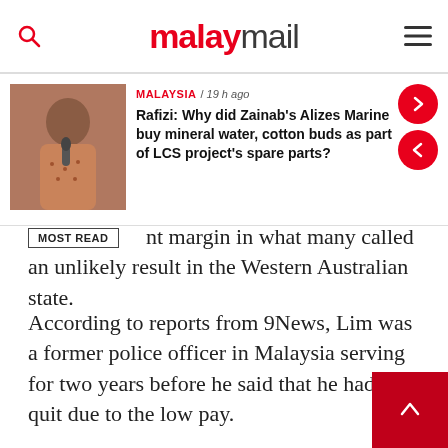malaymail
[Figure (screenshot): News article card with thumbnail photo of a man speaking into a microphone, wearing a patterned shirt. Tag: MALAYSIA / 19 h ago. Headline: Rafizi: Why did Zainab's Alizes Marine buy mineral water, cotton buds as part of LCS project's spare parts?]
nt margin in what many called an unlikely result in the Western Australian state.
According to reports from 9News, Lim was a former police officer in Malaysia serving for two years before he said that he had to quit due to the low pay.
He then became a dolphin trainer at a safari park in Malaysia. Lim said the park went into liquidation, so all the animals were released into the ocean.
“That was the worst part of my career at that time, but we got to say goodbye to them.